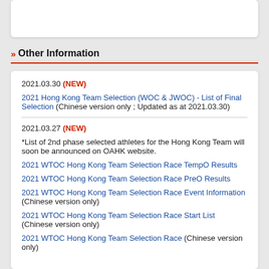>> Other Information
2021.03.30 (NEW)
2021 Hong Kong Team Selection (WOC & JWOC) - List of Final Selection (Chinese version only ; Updated as at 2021.03.30)
2021.03.27 (NEW)
*List of 2nd phase selected athletes for the Hong Kong Team will soon be announced on OAHK website.
2021 WTOC Hong Kong Team Selection Race TempO Results
2021 WTOC Hong Kong Team Selection Race PreO Results
2021 WTOC Hong Kong Team Selection Race Event Information (Chinese version only)
2021 WTOC Hong Kong Team Selection Race Start List (Chinese version only)
2021 WTOC Hong Kong Team Selection Race (Chinese version only)